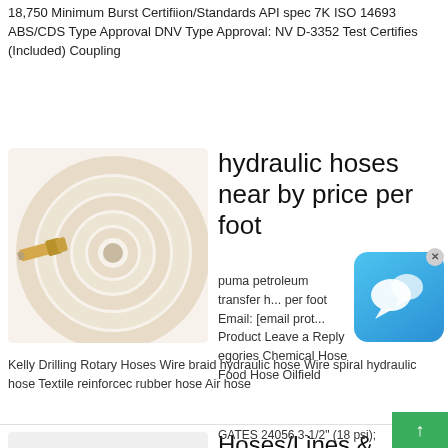18,750 Minimum Burst Certifiion/Standards API spec 7K ISO 14693 ABS/CDS Type Approval DNV Type Approval: NV D-3352 Test Certifies (Included) Coupling
[Figure (photo): Coiled white/cream hydraulic hose with brass fittings]
hydraulic hoses near by price per foot
puma petroleum transfer h... per foot Email: [email prot... Product Leave a Reply egories Chemical Hose Food Hose Oilfield Kelly Drilling Rotary Hoses Wire braid hydraulic hose Wire spiral hydraulic hose Textile reinforcec rubber hose Air hose
[Figure (photo): Black rubber hydraulic hose with gold/brass threaded end fitting]
Hoses/Lines & Clamps Coolant Hose Coolant Hose …
GATES 24056 3-1/2" (18 psi);